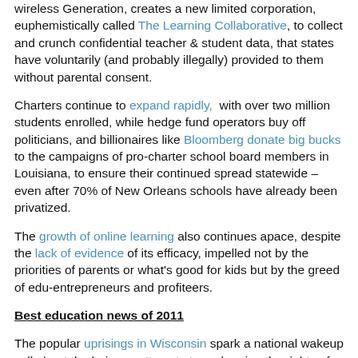wireless Generation, creates a new limited corporation, euphemistically called The Learning Collaborative, to collect and crunch confidential teacher & student data, that states have voluntarily (and probably illegally) provided to them without parental consent.
Charters continue to expand rapidly, with over two million students enrolled, while hedge fund operators buy off politicians, and billionaires like Bloomberg donate big bucks to the campaigns of pro-charter school board members in Louisiana, to ensure their continued spread statewide – even after 70% of New Orleans schools have already been privatized.
The growth of online learning also continues apace, despite the lack of evidence of its efficacy, impelled not by the priorities of parents or what's good for kids but by the greed of edu-entrepreneurs and profiteers.
Best education news of 2011
The popular uprisings in Wisconsin spark a national wakeup call about the heinous attempts to undermine the rights of public sector workers, galvanizing resistance throughout the country and leading to the repeal of Ohio's anti-union and anti-teacher legislation, SB 5.
The success of Occupy Wall Street also continues...